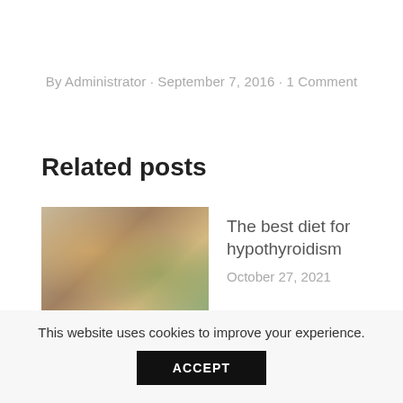By Administrator · September 7, 2016 · 1 Comment
Related posts
[Figure (photo): Overhead view of a table with food, bowls, a smoothie, and a person writing in a notebook — related to diet.]
The best diet for hypothyroidism
October 27, 2021
[Figure (photo): Close-up black and white photo of a person's head, related to hypothyroidism and depression.]
How hypothyroidism causes depression
This website uses cookies to improve your experience.
ACCEPT